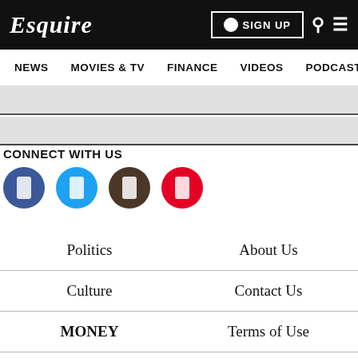Esquire
NEWS  MOVIES & TV  FINANCE  VIDEOS  PODCASTS
CONNECT WITH US
[Figure (other): Four social media icons: Facebook (blue), Twitter (cyan), YouTube/other (brown), Pinterest (red)]
Politics
Culture
MONEY
Style
Long Reads
About Us
Contact Us
Terms of Use
Privacy Policy
Sitemap